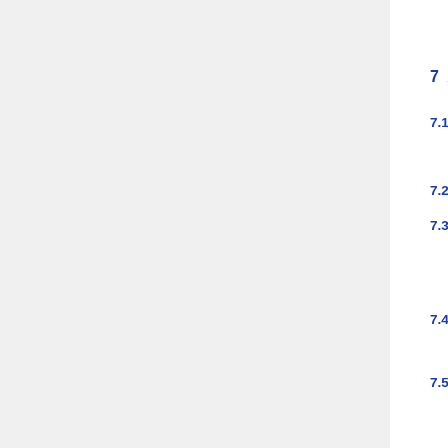Invoice" as required in Aust
7   Accounting Questions
7.1  Q: Can you recommend a book on Accounting?
7.2  Q: What are debits and credits?
7.3  Q: How do I record my income tax installments and year-end payment/refund?
7.4  Q: How do I use GnuCash to calc VAT?
7.5  Q: How do I use GnuCash to do depreciation?
7.6  Q: Is there a CPA (Certified Public Accountant) who uses GnuCash in my area?
7.7  Q: What's a T-account? What's double entry?
7.8  Q: Is there a way to schedule billing the same way we schedule transactions?
7.9  Q: How do I account for loaning/b